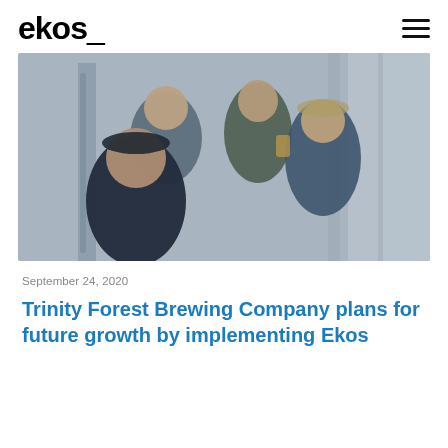ekos_
[Figure (photo): Four brewery workers posing together inside a brewing facility with large steel fermentation tanks in the background. Three men are arranged in a group: one in the foreground wearing a black cap and black shirt, one in the middle wearing a grey polo shirt, and one on the right wearing a blue 'Good Neighbor' t-shirt and a cap. A fourth man stands in the back wearing a dark green shirt and holding a glass of beer.]
September 24, 2020
Trinity Forest Brewing Company plans for future growth by implementing Ekos